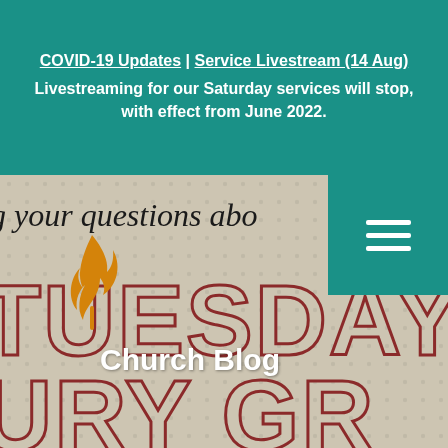COVID-19 Updates | Service Livestream (14 Aug) Livestreaming for our Saturday services will stop, with effect from June 2022.
[Figure (screenshot): Church website screenshot showing a beige dotted background with large outlined red letters spelling TUESDAY and URY GR (cropped), italic text reading 'g your questions abo' at top, a flame logo, a teal hamburger menu box in top right, and a 'Church Blog' label in white centered over the image.]